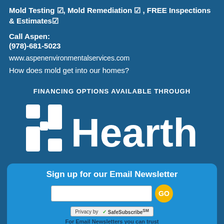Mold Testing ☑, Mold Remediation ☑ , FREE Inspections & Estimates☑
Call Aspen:
(978)-681-5023
www.aspenenvironmentalservices.com
How does mold get into our homes?
FINANCING OPTIONS AVAILABLE THROUGH
[Figure (logo): Hearth financing logo - white text on dark blue background showing 'hi Hearth' with stylized H icon]
Sign up for our Email Newsletter
[Figure (infographic): Email newsletter signup box with input field, GO button, SafeSubscribe badge, and trust text]
For Email Newsletters you can trust